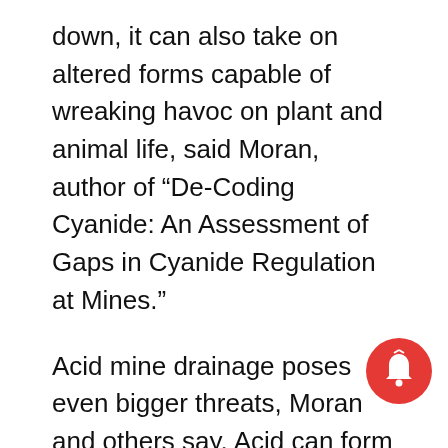down, it can also take on altered forms capable of wreaking havoc on plant and animal life, said Moran, author of “De-Coding Cyanide: An Assessment of Gaps in Cyanide Regulation at Mines.”
Acid mine drainage poses even bigger threats, Moran and others say. Acid can form in a mine when air and water come in contact with sulfide-bearing rock – either underground, from where water must be continually pumped to allow miners access, or above ground, where mining operations often stockpile tailings (pulverized rock largely depleted of gold) and waste rock (whic removed from underground to gain access to the gold-bearing ore). Acid can dissolve through and...